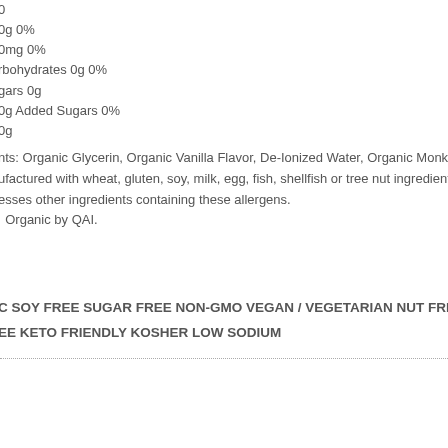0
0g 0%
0mg 0%
rbohydrates 0g 0%
gars 0g
0g Added Sugars 0%
0g
nts: Organic Glycerin, Organic Vanilla Flavor, De-Ionized Water, Organic Monk F ufactured with wheat, gluten, soy, milk, egg, fish, shellfish or tree nut ingredients esses other ingredients containing these allergens. Organic by QAI.
C SOY FREE SUGAR FREE NON-GMO VEGAN / VEGETARIAN NUT FREE C EE KETO FRIENDLY KOSHER LOW SODIUM